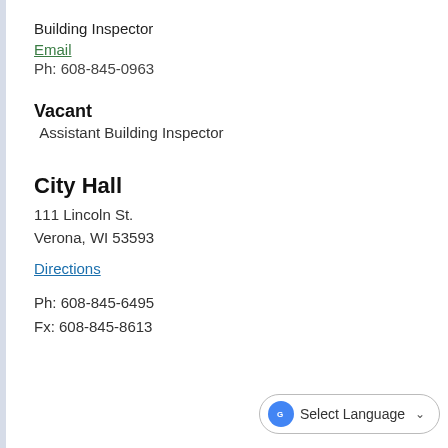Building Inspector
Email
Ph: 608-845-0963
Vacant
Assistant Building Inspector
City Hall
111 Lincoln St.
Verona, WI 53593
Directions
Ph: 608-845-6495
Fx: 608-845-8613
[Figure (other): Select Language button with Google Translate icon and dropdown chevron]